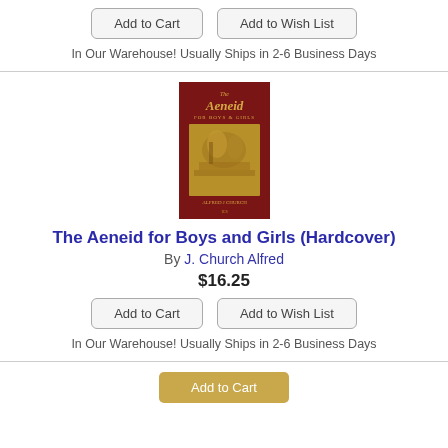Add to Cart | Add to Wish List
In Our Warehouse! Usually Ships in 2-6 Business Days
[Figure (photo): Book cover of 'The Aeneid for Boys and Girls' — dark red cover with gold title text and a gold relief illustration of figures]
The Aeneid for Boys and Girls (Hardcover)
By J. Church Alfred
$16.25
Add to Cart | Add to Wish List
In Our Warehouse! Usually Ships in 2-6 Business Days